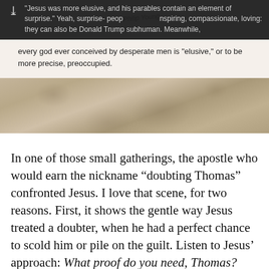[Figure (screenshot): Screenshot of an online comment section with dark header bar containing a chevron icon and comment text about Jesus and Donald Trump, followed by a comment body about gods being elusive, action links (3 Replies, 117 Recommend, Share, Flag), and a textured stone/gravel background image.]
In one of those small gatherings, the apostle who would earn the nickname “doubting Thomas” confronted Jesus. I love that scene, for two reasons. First, it shows the gentle way Jesus treated a doubter, when he had a perfect chance to scold him or pile on the guilt. Listen to Jesus’ approach: What proof do you need, Thomas? Want to touch my wounds? Shall I eat something for you?